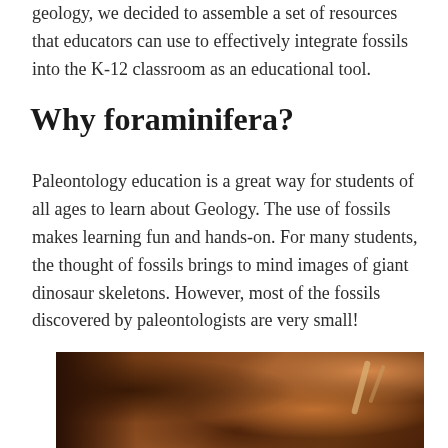geology, we decided to assemble a set of resources that educators can use to effectively integrate fossils into the K-12 classroom as an educational tool.
Why foraminifera?
Paleontology education is a great way for students of all ages to learn about Geology. The use of fossils makes learning fun and hands-on. For many students, the thought of fossils brings to mind images of giant dinosaur skeletons. However, most of the fossils discovered by paleontologists are very small!
[Figure (photo): Close-up macro photograph of a rocky or sedimentary surface with brownish-orange tones, showing texture and some small raised features or fragments, likely fossils or rock surface.]